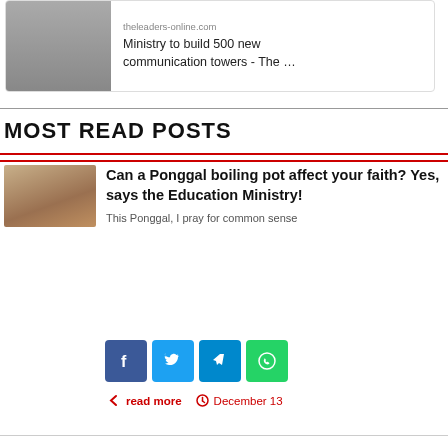[Figure (screenshot): Card with partial image and article snippet from theleaders-online.com: Ministry to build 500 new communication towers - The ...]
theleaders-online.com
Ministry to build 500 new communication towers - The …
MOST READ POSTS
[Figure (photo): Thumbnail image of people at a Ponggal celebration]
Can a Ponggal boiling pot affect your faith? Yes, says the Education Ministry!
This Ponggal, I pray for common sense
[Figure (infographic): Social share icons: Facebook, Twitter, Telegram, WhatsApp]
read more   December 13